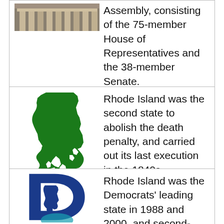Assembly, consisting of the 75-member House of Representatives and the 38-member Senate.
image: upload.wikimedia.org
[Figure (illustration): Green silhouette map of Rhode Island state]
Rhode Island was the second state to abolish the death penalty, and carried out its last execution in the 1840s.
image: www.locallender.info
[Figure (logo): Blue Democrat Party D logo with Rhode Island silhouette]
Rhode Island was the Democrats' leading state in 1988 and 2000, and second-best in 1996 and 2004.